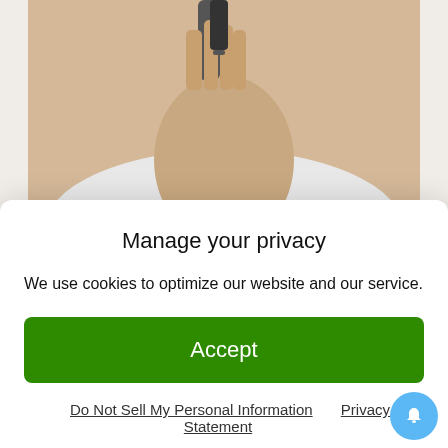[Figure (photo): Photo of a person applying serum/product, with a footnote reading '*BASED ON UNIT SALES FULL YEAR 2020. SOURCE: NIELSEN MASS MARKET DATA LRL FORM: SERUM' overlaid at the bottom of the image]
FORM ON FACEBOOK
Manage your privacy
We use cookies to optimize our website and our service.
Accept
Do Not Sell My Personal Information   Privacy Statement
Please note that the picture could be different depending on where you saw the advert (on your feed as a post, or as a story…)
You might get another freebie from l'Oreal altogether since they have at least 3 different samples right now for US residents. All